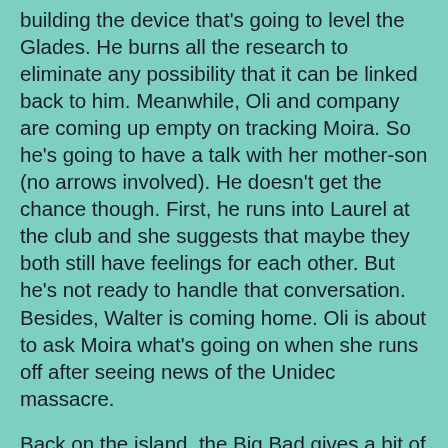building the device that's going to level the Glades. He burns all the research to eliminate any possibility that it can be linked back to him. Meanwhile, Oli and company are coming up empty on tracking Moira. So he's going to have a talk with her mother-son (no arrows involved). He doesn't get the chance though. First, he runs into Laurel at the club and she suggests that maybe they both still have feelings for each other. But he's not ready to handle that conversation. Besides, Walter is coming home. Oli is about to ask Moira what's going on when she runs off after seeing news of the Unidec massacre.
Back on the island, the Big Bad gives a bit of an Evil Speech of Evil. He explains he's going to use the missiles to take down a commercial airliner headed for China. He wants to destabilize the Chinese economy, or at least his employer does. So there's another layer of mystery about what he's up to. He forces the Archer to be the spokesman for the campaign, dressing him up in uniform and making him look all spiffy. He injures Shadow and Slade to force the Archer to cooperate. And once the message is recorded, the Archer gets a bullet to the head. I guess he doesn't teach Oli anything about being sneaky with a bow. This